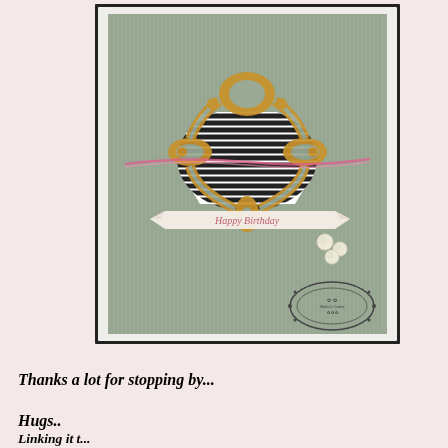[Figure (photo): A handmade birthday card with a sage green corrugated background. In the center is a gold ornate filigree/damask frame around a black-and-white striped oval shape. A pink ribbon or string is threaded through. A white banner reads 'Happy Birthday' in pink text. Small cream paper roses are on the right. A decorative oval stamp/logo is in the bottom right corner.]
Thanks a lot for stopping by...
Hugs..
Shalu.
Linking it t...